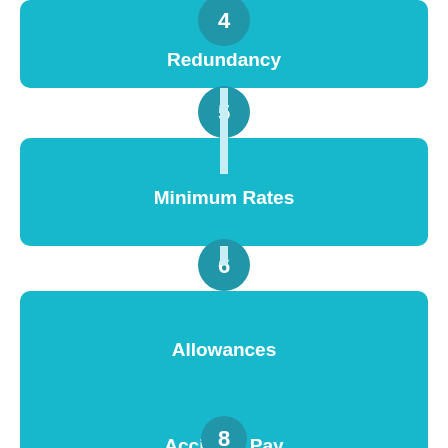[Figure (infographic): Numbered list infographic with teal rounded rectangle blocks and circular number badges. Shows items 4 (Redundancy), 5 (Minimum Rates), 6 (Allowances), 7 (Accident Pay), and partially 8 at the bottom.]